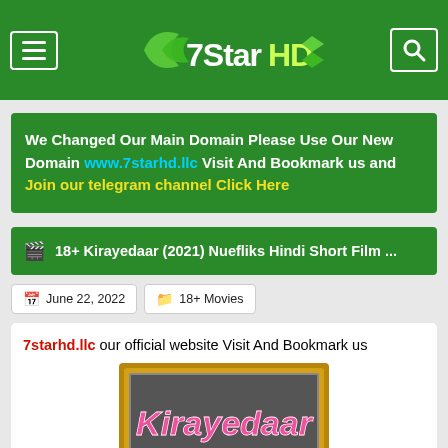7StarHD - website header with menu and search icons
We Changed Our Main Domain Please Use Our New Domain www.7starhd.llc Visit And Bookmark us and Join our telegram channel Click Here
🎬 18+ Kirayedaar (2021) Nuefliks Hindi Short Film ...
June 22, 2022  |  18+ Movies
7starhd.llc our official website Visit And Bookmark us
[Figure (photo): Movie poster for Kirayedaar with pink stylized text on dark background with gold frame border]